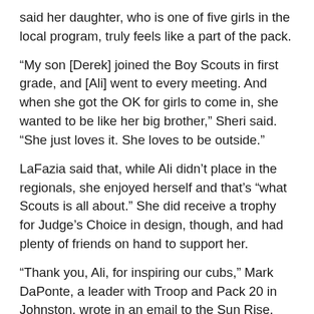said her daughter, who is one of five girls in the local program, truly feels like a part of the pack.
“My son [Derek] joined the Boy Scouts in first grade, and [Ali] went to every meeting. And when she got the OK for girls to come in, she wanted to be like her big brother,” Sheri said. “She just loves it. She loves to be outside.”
LaFazia said that, while Ali didn’t place in the regionals, she enjoyed herself and that’s “what Scouts is all about.” She did receive a trophy for Judge’s Choice in design, though, and had plenty of friends on hand to support her.
“Thank you, Ali, for inspiring our cubs,” Mark DaPonte, a leader with Troop and Pack 20 in Johnston, wrote in an email to the Sun Rise. “We can’t wait to see what she does next year!”
Ali isn’t the only one in her Scouting group making strides. Her den leader, Warwick’s Laurie Willcomm, is one of the first female den leaders in the state, Sheri